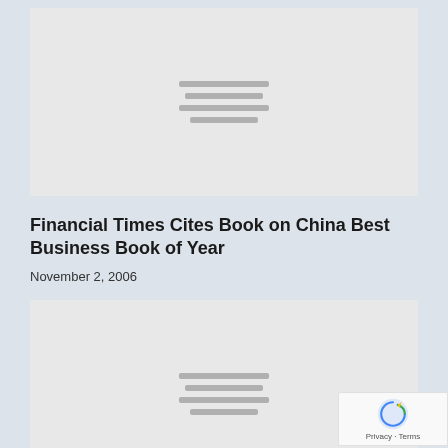[Figure (other): Gray placeholder image block with four horizontal lines in center, representing a loading or redacted image thumbnail]
Financial Times Cites Book on China Best Business Book of Year
November 2, 2006
[Figure (other): Gray placeholder image block with four horizontal lines in center, representing a loading or redacted image thumbnail (partially visible)]